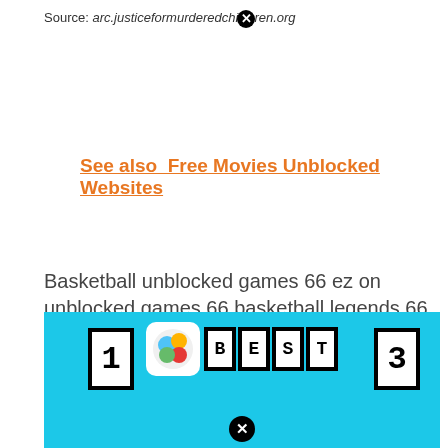Source: arc.justiceformurderedchildren.org
See also  Free Movies Unblocked Websites
Basketball unblocked games 66 ez on unblocked games 66 basketball legends 66 unblocked games you can find mega unblocked games head basketball fun to play the best unblocked games 66 at school 4 free online cool 2 player games that are not blocked. Point of the game is to shoot the.
[Figure (screenshot): Screenshot of a basketball game on a cyan/blue background showing score 1 on left, game icon and BEST label in center, score 3 on right, and a close button at bottom.]